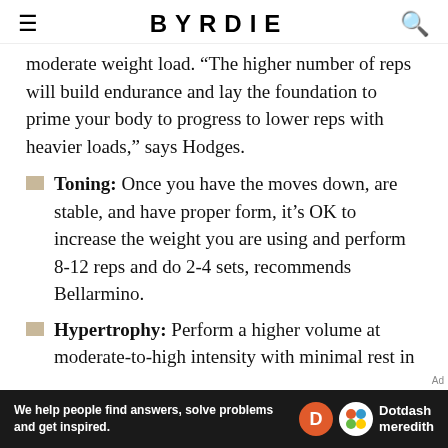BYRDIE
moderate weight load. "The higher number of reps will build endurance and lay the foundation to prime your body to progress to lower reps with heavier loads," says Hodges.
Toning: Once you have the moves down, are stable, and have proper form, it's OK to increase the weight you are using and perform 8-12 reps and do 2-4 sets, recommends Bellarmino.
Hypertrophy: Perform a higher volume at moderate-to-high intensity with minimal rest in
[Figure (other): Advertisement banner: 'We help people find answers, solve problems and get inspired.' with Dotdash Meredith logo]